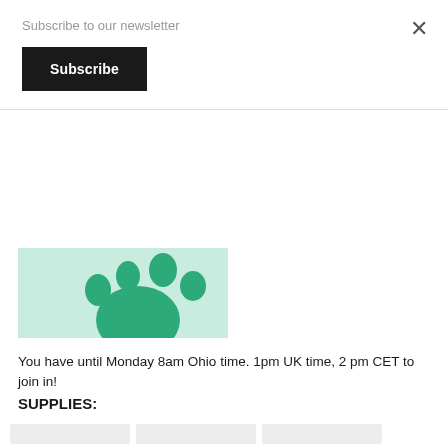Subscribe to our newsletter
Subscribe
[Figure (illustration): Partial view of a light green/mint background banner with dark green paw print shapes on the right side]
You have until Monday 8am Ohio time. 1pm UK time, 2 pm CET to join in!
SUPPLIES: